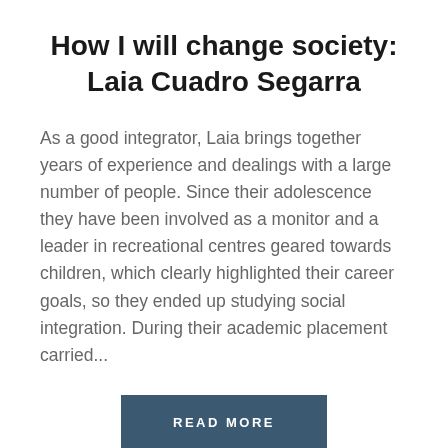How I will change society: Laia Cuadro Segarra
As a good integrator, Laia brings together years of experience and dealings with a large number of people. Since their adolescence they have been involved as a monitor and a leader in recreational centres geared towards children, which clearly highlighted their career goals, so they ended up studying social integration. During their academic placement carried...
READ MORE
[Figure (photo): Colorful image with red background, dark edges, and a teal/blue fan or feather-like object with green element in the center]